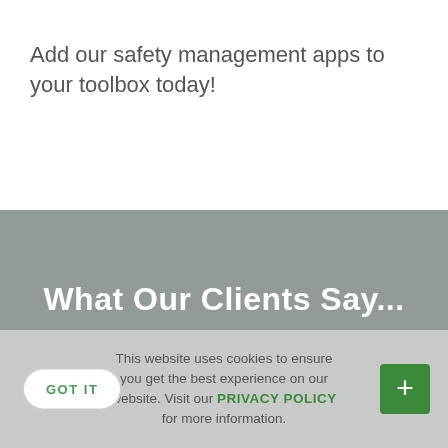Add our safety management apps to your toolbox today!
What Our Clients Say...
This website uses cookies to ensure you get the best experience on our website. Visit our PRIVACY POLICY for more information.